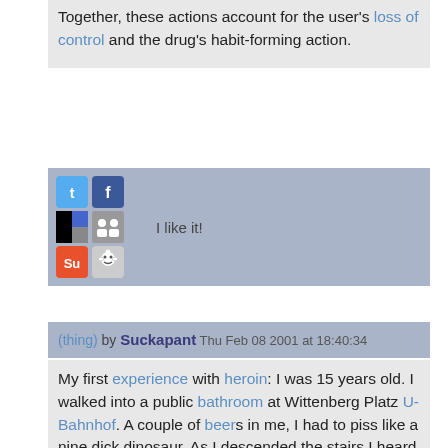Together, these actions account for the user's loss of control and the drug's habit-forming action.
[Figure (infographic): Social sharing bar with Twitter, Facebook, dots/bookmark, people/share icons, StumbleUpon, Reddit icons, and 'I like it!' text]
(thing) by Suckapant Thu Feb 08 2001 at 18:40:34
My first experience with heroin: I was 15 years old. I walked into a public bathroom at Wittenberg Platz U-Bahnhof. A couple of beers in me, I had to piss like a nine dick dinosaur. As I descended the stairs I heard a slight